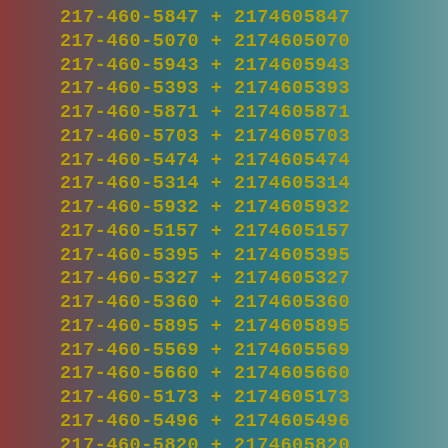217-460-5847 + 2174605847
217-460-5070 + 2174605070
217-460-5943 + 2174605943
217-460-5393 + 2174605393
217-460-5871 + 2174605871
217-460-5703 + 2174605703
217-460-5474 + 2174605474
217-460-5314 + 2174605314
217-460-5932 + 2174605932
217-460-5157 + 2174605157
217-460-5395 + 2174605395
217-460-5327 + 2174605327
217-460-5360 + 2174605360
217-460-5895 + 2174605895
217-460-5569 + 2174605569
217-460-5660 + 2174605660
217-460-5173 + 2174605173
217-460-5496 + 2174605496
217-460-5820 + 2174605820
217-460-5350 + 2174605350
217-460-5037 + 2174605037
217-460-5975 + 2174605975